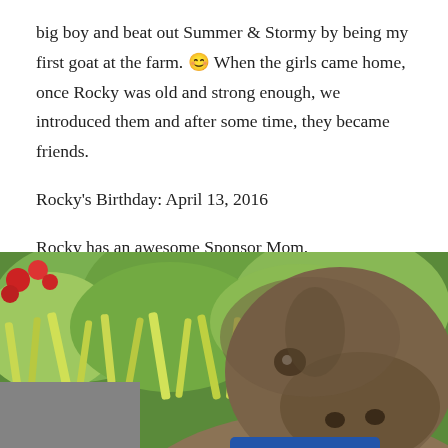big boy and beat out Summer & Stormy by being my first goat at the farm. ☺ When the girls came home, once Rocky was old and strong enough, we introduced them and after some time, they became friends.
Rocky's Birthday: April 13, 2016
Rocky has an awesome Sponsor Mom.
[Figure (photo): Close-up photo of a brown goat with a blue collar, facing the camera, surrounded by green plants and foliage in the background. Some red flowers are visible in the upper left corner.]